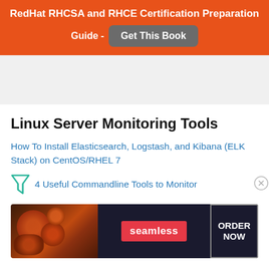RedHat RHCSA and RHCE Certification Preparation Guide - Get This Book
Linux Server Monitoring Tools
How To Install Elasticsearch, Logstash, and Kibana (ELK Stack) on CentOS/RHEL 7
4 Useful Commandline Tools to Monitor
[Figure (screenshot): Seamless food delivery advertisement banner with pizza image, Seamless logo in red, and ORDER NOW button]